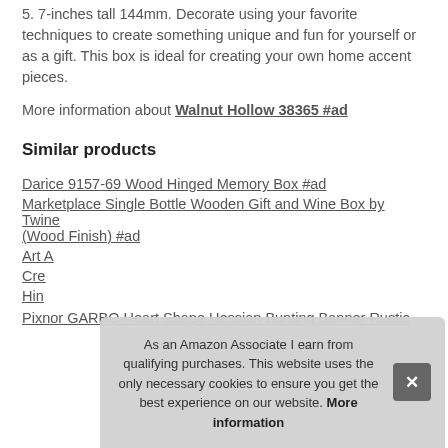5. 7-inches tall 144mm. Decorate using your favorite techniques to create something unique and fun for yourself or as a gift. This box is ideal for creating your own home accent pieces.
More information about Walnut Hollow 38365 #ad
Similar products
Darice 9157-69 Wood Hinged Memory Box #ad
Marketplace Single Bottle Wooden Gift and Wine Box by Twine (Wood Finish) #ad
Art A...
Crea...
Hing...
Pixnor GARBO Heart Shape Hessian Bunting Banner Rustic
As an Amazon Associate I earn from qualifying purchases. This website uses the only necessary cookies to ensure you get the best experience on our website. More information